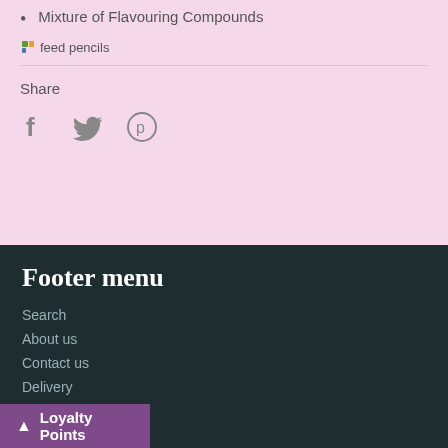Mixture of Flavouring Compounds
[Figure (other): Feed pencils image placeholder with alt text 'feed pencils']
Share
[Figure (other): Social share icons: Facebook (f), Twitter (bird), Pinterest (p)]
Footer menu
Search
About us
Contact us
Delivery
Loyalty Points